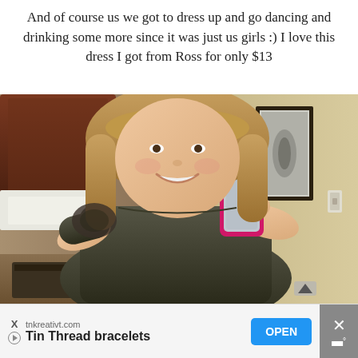And of course us we got to dress up and go dancing and drinking some more since it was just us girls :) I love this dress I got from Ross for only $13
[Figure (photo): A woman in a dark grey dress taking a mirror selfie in what appears to be a hotel room, holding a pink phone. A bed with a dark wood headboard is visible on the left, and a framed picture hangs on the wall to the right.]
tnkreativt.com Tin Thread bracelets OPEN